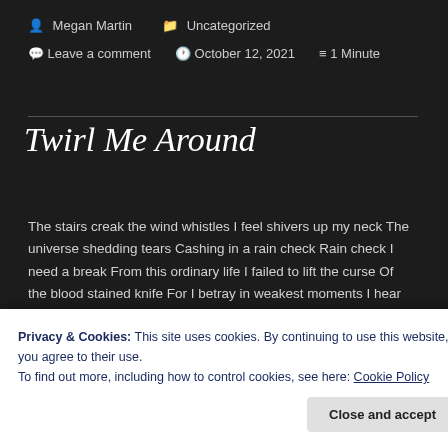Megan Martin   Uncategorized   Leave a comment   October 12, 2021   1 Minute
Twirl Me Around
The stairs creak the wind whistles I feel shivers up my neck The universe shedding tears Cashing in a rain check Rain check I need a break From this ordinary life I failed to lift the curse Of the blood stained knife For I betray in weakest moments I hear the whispers in my ear …
Privacy & Cookies: This site uses cookies. By continuing to use this website, you agree to their use.
To find out more, including how to control cookies, see here: Cookie Policy